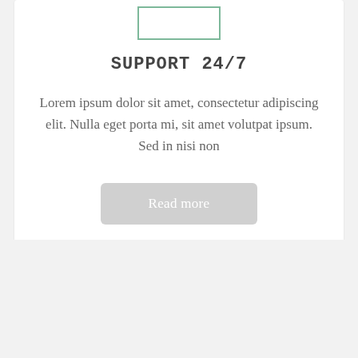[Figure (illustration): Small rectangular placeholder icon with green border centered at top of card]
SUPPORT 24/7
Lorem ipsum dolor sit amet, consectetur adipiscing elit. Nulla eget porta mi, sit amet volutpat ipsum. Sed in nisi non
Read more